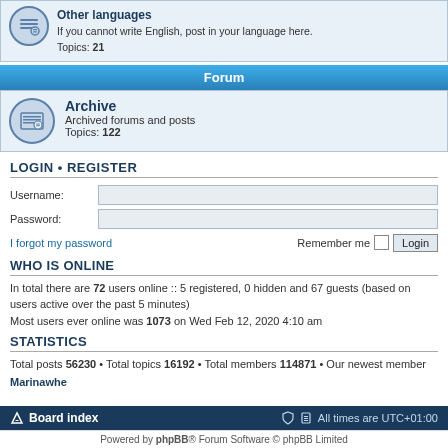Other languages
If you cannot write English, post in your language here.
Topics: 21
Forum
Archive
Archived forums and posts
Topics: 122
LOGIN • REGISTER
Username:
Password:
I forgot my password
Remember me  Login
WHO IS ONLINE
In total there are 72 users online :: 5 registered, 0 hidden and 67 guests (based on users active over the past 5 minutes)
Most users ever online was 1073 on Wed Feb 12, 2020 4:10 am
STATISTICS
Total posts 56230 • Total topics 16192 • Total members 114871 • Our newest member Marinawhe
Board index  All times are UTC+01:00
Powered by phpBB® Forum Software © phpBB Limited